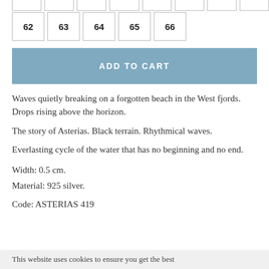Size options (partial row at top): clipped boxes
62
63
64
65
66
ADD TO CART
Waves quietly breaking on a forgotten beach in the West fjords. Drops rising above the horizon.
The story of Asterias. Black terrain. Rhythmical waves.
Everlasting cycle of the water that has no beginning and no end.
Width: 0.5 cm.
Material: 925 silver.
Code: ASTERIAS 419
This website uses cookies to ensure you get the best